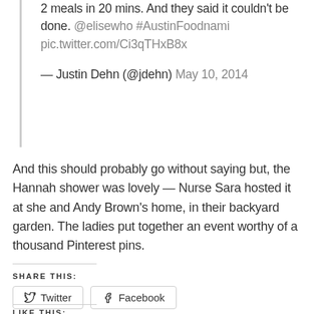2 meals in 20 mins. And they said it couldn't be done. @elisewho #AustinFoodnami pic.twitter.com/Ci3qTHxB8x

— Justin Dehn (@jdehn) May 10, 2014
And this should probably go without saying but, the Hannah shower was lovely — Nurse Sara hosted it at she and Andy Brown's home, in their backyard garden. The ladies put together an event worthy of a thousand Pinterest pins.
SHARE THIS:
Twitter  Facebook
LIKE THIS: